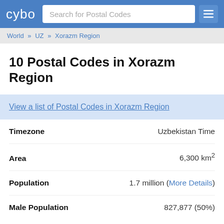cybo | Search for Postal Codes
World » UZ » Xorazm Region
10 Postal Codes in Xorazm Region
View a list of Postal Codes in Xorazm Region
| Field | Value |
| --- | --- |
| Timezone | Uzbekistan Time |
| Area | 6,300 km² |
| Population | 1.7 million (More Details) |
| Male Population | 827,877 (50%) |